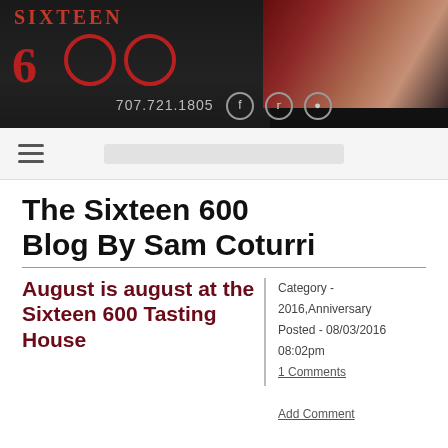[Figure (photo): Sixteen 600 restaurant/tasting house header banner with logo, phone number 707.721.1805, social media icons (Facebook, Twitter, Instagram), and a portrait illustration of a figure on the right side against dark background.]
☰
The Sixteen 600 Blog By Sam Coturri
August is august at the Sixteen 600 Tasting House
Category - 2016,Anniversary
Posted - 08/03/2016 08:02pm
1 Comments
|
Add Comment